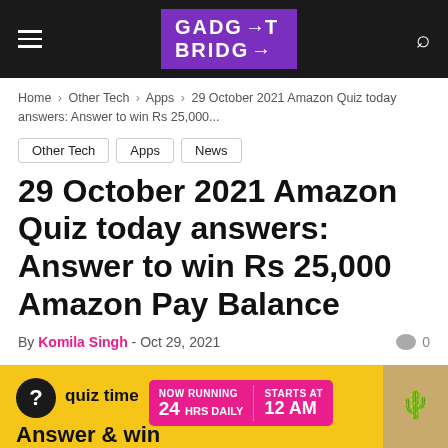GADGET BRIDGE
Home › Other Tech › Apps › 29 October 2021 Amazon Quiz today answers: Answer to win Rs 25,000...
Other Tech
Apps
News
29 October 2021 Amazon Quiz today answers: Answer to win Rs 25,000 Amazon Pay Balance
By Komila Singh - Oct 29, 2021   0
[Figure (photo): Amazon Quiz promotional banner with yellow background showing quiz time, 'NOW RUNNING 24 HRS DAILY | STARTS AT 12 AM' pill in pink, a cactus image on the right, and 'Answer & win' text at the bottom left]